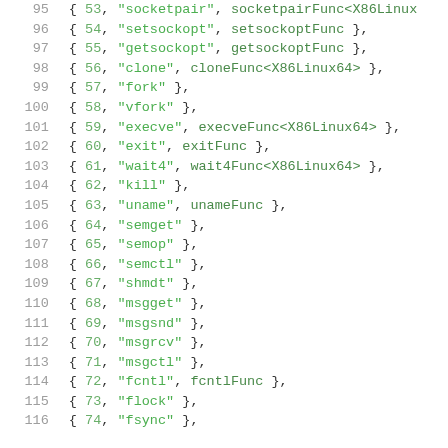Code listing lines 95-116 showing syscall table entries with line numbers, syscall numbers, names, and handler function references.